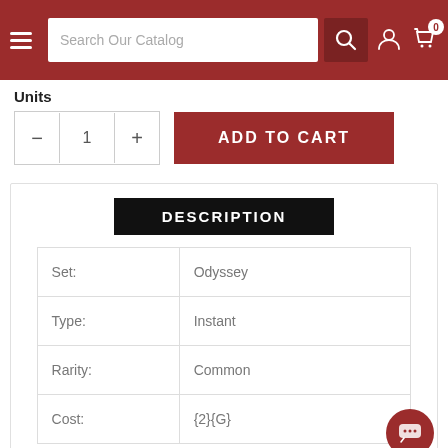[Figure (screenshot): Website navigation header bar with hamburger menu, search box reading 'Search Our Catalog', search icon button, user account icon, and shopping cart icon with badge showing 0]
Units
[Figure (other): Quantity selector with minus button, value of 1, and plus button, alongside a red 'ADD TO CART' button]
DESCRIPTION
| Set: | Odyssey |
| Type: | Instant |
| Rarity: | Common |
| Cost: | {2}{G} |